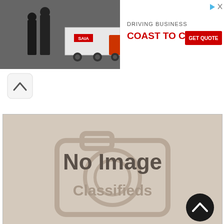[Figure (screenshot): Advertisement banner for Saia trucking company showing 'DRIVING BUSINESS COAST TO COAST' with a GET QUOTE button and a photo of workers near a Saia truck trailer]
[Figure (screenshot): A scroll-up/collapse button (chevron up icon) in a rounded rectangle]
[Figure (photo): No Image Classifieds placeholder image with camera icon watermark, dark text reading 'No Image' and lighter text 'Classifieds', with a dark circular scroll-to-top button in the bottom right]